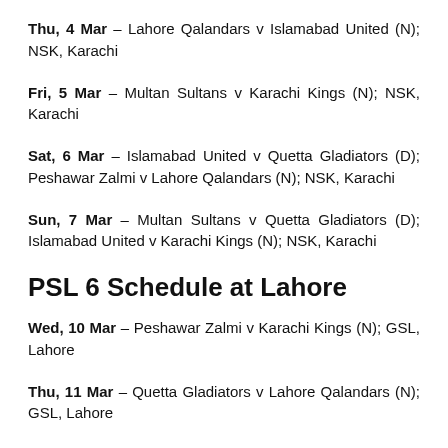Thu, 4 Mar – Lahore Qalandars v Islamabad United (N); NSK, Karachi
Fri, 5 Mar – Multan Sultans v Karachi Kings (N); NSK, Karachi
Sat, 6 Mar – Islamabad United v Quetta Gladiators (D); Peshawar Zalmi v Lahore Qalandars (N); NSK, Karachi
Sun, 7 Mar – Multan Sultans v Quetta Gladiators (D); Islamabad United v Karachi Kings (N); NSK, Karachi
PSL 6 Schedule at Lahore
Wed, 10 Mar – Peshawar Zalmi v Karachi Kings (N); GSL, Lahore
Thu, 11 Mar – Quetta Gladiators v Lahore Qalandars (N); GSL, Lahore